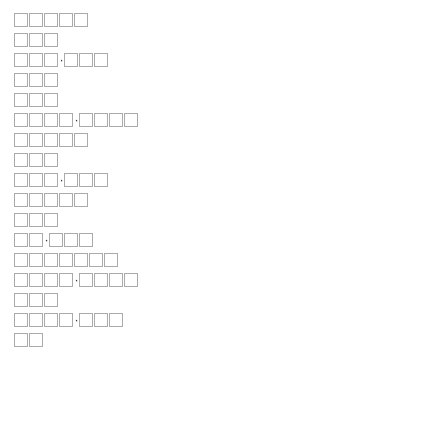□□□□□
□□□
□□□·□□□
□□□
□□□
□□□□·□□□□
□□□□□
□□□
□□□·□□□
□□□□□
□□□
□□·□□□
□□□□□□□
□□□□·□□□□
□□□
□□□□·□□□
□□